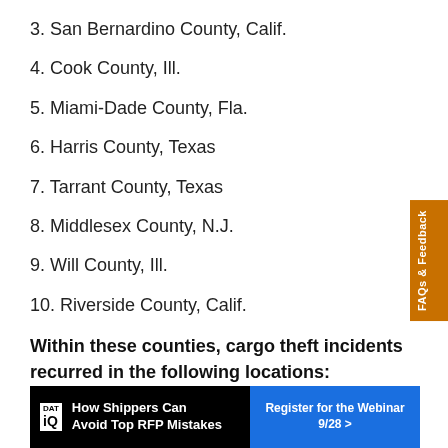3. San Bernardino County, Calif.
4. Cook County, Ill.
5. Miami-Dade County, Fla.
6. Harris County, Texas
7. Tarrant County, Texas
8. Middlesex County, N.J.
9. Will County, Ill.
10. Riverside County, Calif.
Within these counties, cargo theft incidents recurred in the following locations:
[Figure (other): DAT iQ advertisement banner: How Shippers Can Avoid Top RFP Mistakes. Register for the Webinar 9/28 button.]